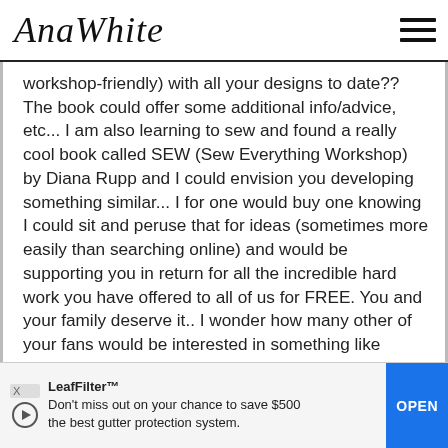AnaWhite
workshop-friendly) with all your designs to date?? The book could offer some additional info/advice, etc... I am also learning to sew and found a really cool book called SEW (Sew Everything Workshop) by Diana Rupp and I could envision you developing something similar... I for one would buy one knowing I could sit and peruse that for ideas (sometimes more easily than searching online) and would be supporting you in return for all the incredible hard work you have offered to all of us for FREE. You and your family deserve it.. I wonder how many other of your fans would be interested in something like this??? :) I know it would mean more work in the immediate term but perhaps more income in the long run, thus more quality time with family during hopefully frequent WARM Hawaiian vacations??? Just a tho
LeafFilter™ Don't miss out on your chance to save $500 OPEN the best gutter protection system.